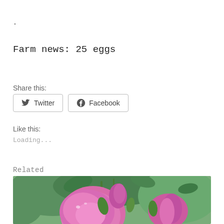.
Farm news: 25 eggs
Share this:
Twitter
Facebook
Like this:
Loading...
Related
[Figure (photo): Close-up photo of pink flowers with green leaves in the background]